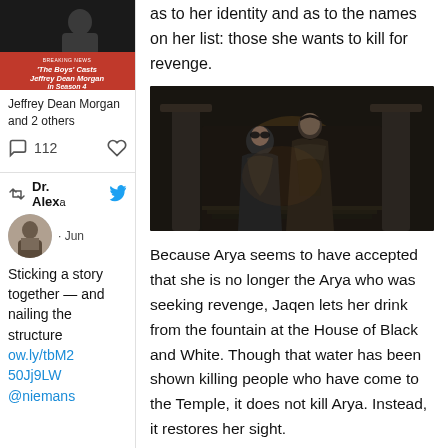[Figure (screenshot): Left sidebar social media card showing a TV show breaking news: 'The Boys Casts Jeffrey Dean Morgan in Season 4' with red banner. Caption: 'Jeffrey Dean Morgan and 2 others'. Comment icon with 112 count and heart icon.]
Jeffrey Dean Morgan and 2 others
[Figure (screenshot): Retweet icon and Dr. Alex name, Twitter bird icon, Jun date, avatar photo of a man in suit]
Sticking a story together — and nailing the structure ow.ly/tbM250Jj9LW @niemans
as to her identity and as to the names on her list: those she wants to kill for revenge.
[Figure (photo): Dark cinematic still from a TV show (Game of Thrones) showing two figures standing in a dimly lit stone hall with glowing light behind them.]
Because Arya seems to have accepted that she is no longer the Arya who was seeking revenge, Jaqen lets her drink from the fountain at the House of Black and White. Though that water has been shown killing people who have come to the Temple, it does not kill Arya. Instead, it restores her sight.